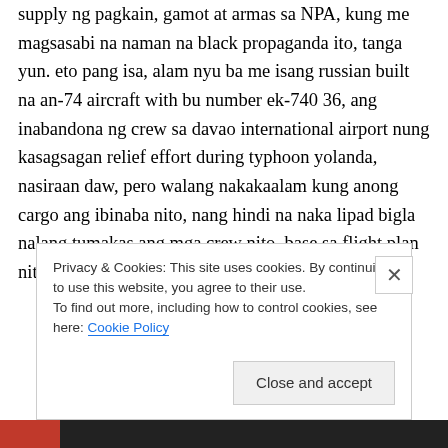supply ng pagkain, gamot at armas sa NPA, kung me magsasabi na naman na black propaganda ito, tanga yun. eto pang isa, alam nyu ba me isang russian built na an-74 aircraft with bu number ek-740 36, ang inabandona ng crew sa davao international airport nung kasagsagan relief effort during typhoon yolanda, nasiraan daw, pero walang nakakaalam kung anong cargo ang ibinaba nito, nang hindi na naka lipad bigla nalang tumakas ang mga crew nito, base sa flight plan nito , nanggaling na ito
Privacy & Cookies: This site uses cookies. By continuing to use this website, you agree to their use.
To find out more, including how to control cookies, see here: Cookie Policy
Close and accept